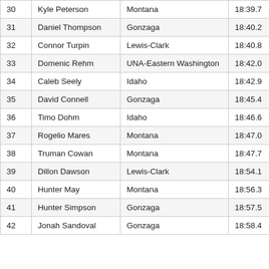| 30 | Kyle Peterson | Montana | 18:39.7 | 22 |
| 31 | Daniel Thompson | Gonzaga | 18:40.2 |  |
| 32 | Connor Turpin | Lewis-Clark | 18:40.8 | 23 |
| 33 | Domenic Rehm | UNA-Eastern Washington | 18:42.0 |  |
| 34 | Caleb Seely | Idaho | 18:42.9 | 24 |
| 35 | David Connell | Gonzaga | 18:45.4 |  |
| 36 | Timo Dohm | Idaho | 18:46.6 | 25 |
| 37 | Rogelio Mares | Montana | 18:47.0 | 26 |
| 38 | Truman Cowan | Montana | 18:47.7 | 27 |
| 39 | Dillon Dawson | Lewis-Clark | 18:54.1 | 28 |
| 40 | Hunter May | Montana | 18:56.3 | 29 |
| 41 | Hunter Simpson | Gonzaga | 18:57.5 |  |
| 42 | Jonah Sandoval | Gonzaga | 18:58.4 |  |